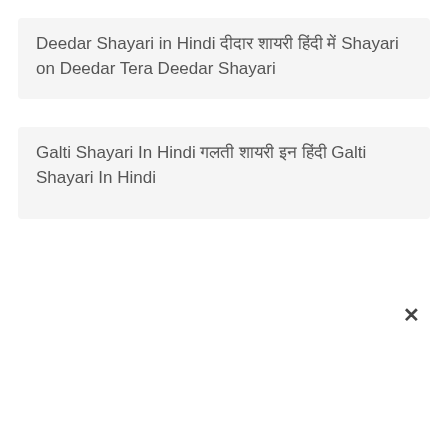Deedar Shayari in Hindi दीदार शायरी हिंदी में Shayari on Deedar Tera Deedar Shayari
Galti Shayari In Hindi गलती शायरी इन हिंदी Galti Shayari In Hindi